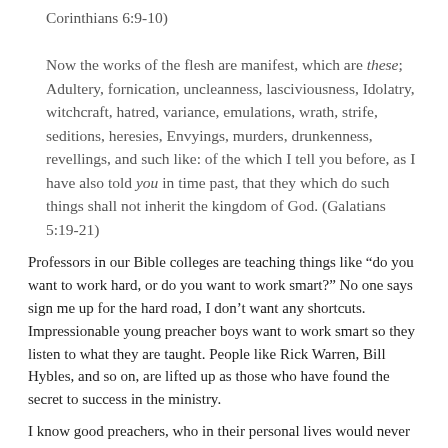Corinthians 6:9-10)
Now the works of the flesh are manifest, which are these; Adultery, fornication, uncleanness, lasciviousness, Idolatry, witchcraft, hatred, variance, emulations, wrath, strife, seditions, heresies, Envyings, murders, drunkenness, revellings, and such like: of the which I tell you before, as I have also told you in time past, that they which do such things shall not inherit the kingdom of God. (Galatians 5:19-21)
Professors in our Bible colleges are teaching things like “do you want to work hard, or do you want to work smart?” No one says sign me up for the hard road, I don’t want any shortcuts. Impressionable young preacher boys want to work smart so they listen to what they are taught. People like Rick Warren, Bill Hybles, and so on, are lifted up as those who have found the secret to success in the ministry.
I know good preachers, who in their personal lives would never compromise the principles of God, yet apologize every time they think something might be offensive to some of their listeners.